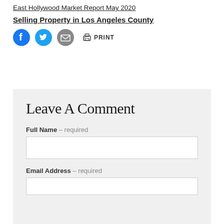East Hollywood Market Report May 2020
Selling Property in Los Angeles County
[Figure (infographic): Social sharing bar with Facebook icon (blue circle with f), Twitter icon (blue circle with bird), Email icon (grey envelope), and Print button with printer icon]
Leave A Comment
Full Name – required
Email Address – required